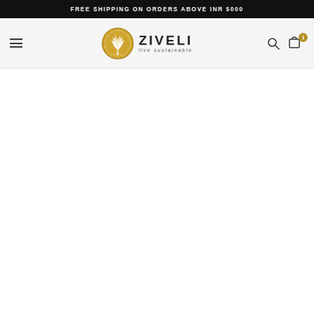FREE SHIPPING ON ORDERS ABOVE INR 5000
[Figure (logo): Ziveli brand navigation bar with hamburger menu, circular tree logo, ZIVELI brand name with 'live sustainable' tagline, search icon, and cart icon with badge showing 1 item]